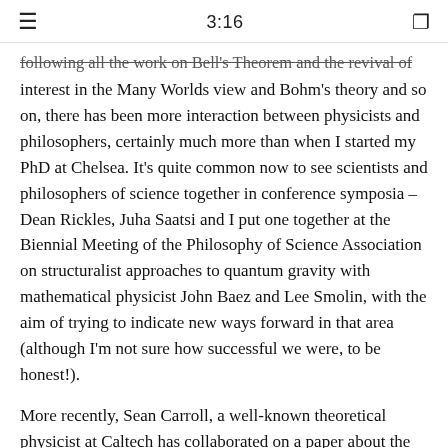3:16
Following all the work on Bell's Theorem and the revival of interest in the Many Worlds view and Bohm's theory and so on, there has been more interaction between physicists and philosophers, certainly much more than when I started my PhD at Chelsea. It's quite common now to see scientists and philosophers of science together in conference symposia – Dean Rickles, Juha Saatsi and I put one together at the Biennial Meeting of the Philosophy of Science Association on structuralist approaches to quantum gravity with mathematical physicist John Baez and Lee Smolin, with the aim of trying to indicate new ways forward in that area (although I'm not sure how successful we were, to be honest!).
More recently, Sean Carroll, a well-known theoretical physicist at Caltech has collaborated on a paper about the Many Worlds interpretation with 'Chip' Sebens, a philosopher of physics, that was published in The British Journal for the Philosophy of Science. That's a really